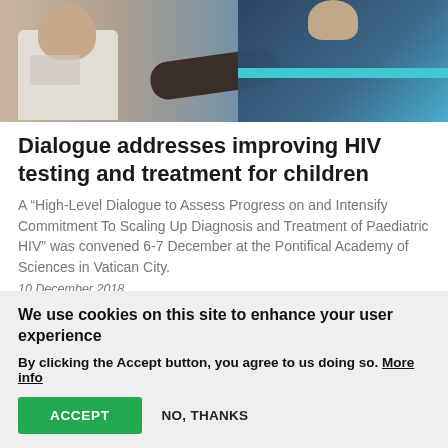[Figure (photo): Photo of a child and an adult, likely a healthcare worker administering treatment or testing. The child is on the left, the adult on the right, set against a background suggesting a medical or community setting.]
Dialogue addresses improving HIV testing and treatment for children
A “High-Level Dialogue to Assess Progress on and Intensify Commitment To Scaling Up Diagnosis and Treatment of Paediatric HIV” was convened 6-7 December at the Pontifical Academy of Sciences in Vatican City.
10 December 2018
We use cookies on this site to enhance your user experience
By clicking the Accept button, you agree to us doing so. More info